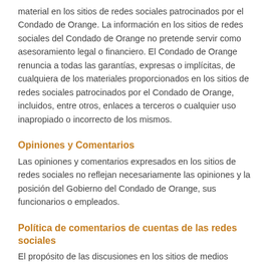material en los sitios de redes sociales patrocinados por el Condado de Orange. La información en los sitios de redes sociales del Condado de Orange no pretende servir como asesoramiento legal o financiero. El Condado de Orange renuncia a todas las garantías, expresas o implícitas, de cualquiera de los materiales proporcionados en los sitios de redes sociales patrocinados por el Condado de Orange, incluidos, entre otros, enlaces a terceros o cualquier uso inapropiado o incorrecto de los mismos.
Opiniones y Comentarios
Las opiniones y comentarios expresados en los sitios de redes sociales no reflejan necesariamente las opiniones y la posición del Gobierno del Condado de Orange, sus funcionarios o empleados.
Política de comentarios de cuentas de las redes sociales
El propósito de las discusiones en los sitios de medios